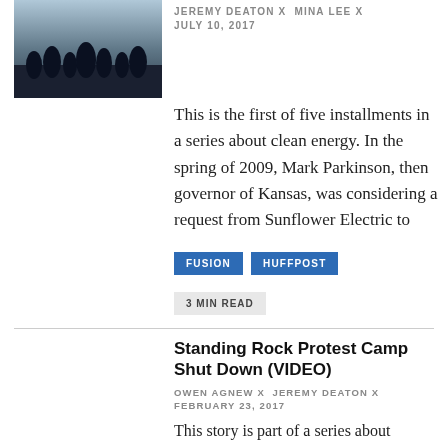[Figure (photo): Thumbnail image of wind turbines at sunset with a play button overlay]
JEREMY DEATON X MINA LEE X
JULY 10, 2017
This is the first of five installments in a series about clean energy. In the spring of 2009, Mark Parkinson, then governor of Kansas, was considering a request from Sunflower Electric to
FUSION   HUFFPOST
3 MIN READ
[Figure (photo): Thumbnail image of people at Standing Rock protest with a play button overlay]
Standing Rock Protest Camp Shut Down (VIDEO)
OWEN AGNEW X JEREMY DEATON X
FEBRUARY 23, 2017
This story is part of a series about Standing Rock, North Dakota — the